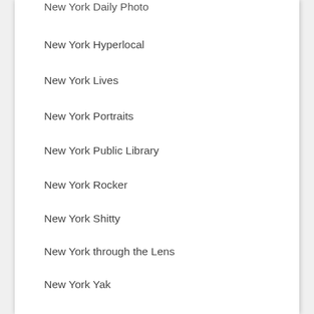New York Daily Photo
New York Hyperlocal
New York Lives
New York Portraits
New York Public Library
New York Rocker
New York Shitty
New York through the Lens
New York Yak
New-York Historical Society
Newtown Pentacle
Newyorkette
NewYorkology
Not for Tourists
Now I've Heard Everything